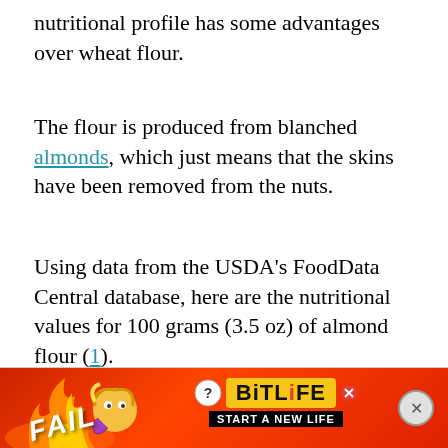nutritional profile has some advantages over wheat flour.
The flour is produced from blanched almonds, which just means that the skins have been removed from the nuts.
Using data from the USDA's FoodData Central database, here are the nutritional values for 100 grams (3.5 oz) of almond flour (1).
[Figure (infographic): Advertisement banner for BitLife game. Red/orange background with flame graphics, 'FAIL' text, cartoon character, BitLife logo in yellow, and 'START A NEW LIFE' tagline. Close button on right.]